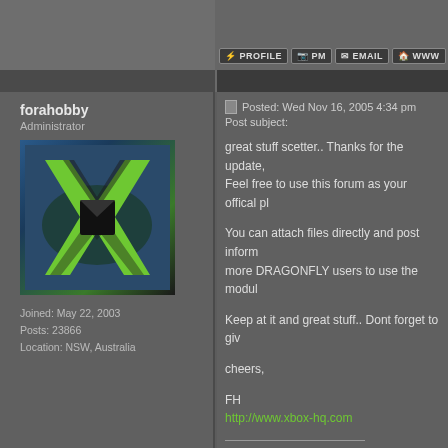[Figure (screenshot): Forum page top bar with navigation buttons: PROFILE, PM, EMAIL, WWW]
forahobby
Administrator
[Figure (logo): Xbox HQ logo - green X on dark background]
Joined: May 22, 2003
Posts: 23866
Location: NSW, Australia
Posted: Wed Nov 16, 2005 4:34 pm
Post subject:
great stuff scetter.. Thanks for the update,
Feel free to use this forum as your offical pl

You can attach files directly and post inform
more DRAGONFLY users to use the modul

Keep at it and great stuff.. Dont forget to giv

cheers,

FH
http://www.xbox-hq.com
HQ Network:
www.xbox-hq.com | www.xboxone-hq.com
[Figure (photo): Xbox HQ banner image with game screenshot and logo]